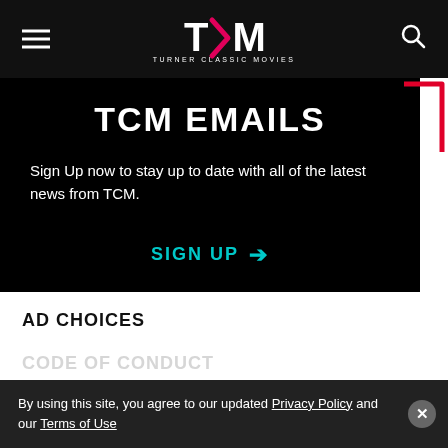TCM - Turner Classic Movies
TCM EMAILS
Sign Up now to stay up to date with all of the latest news from TCM.
SIGN UP →
AD CHOICES
CODE OF CONDUCT
By using this site, you agree to our updated Privacy Policy and our Terms of Use